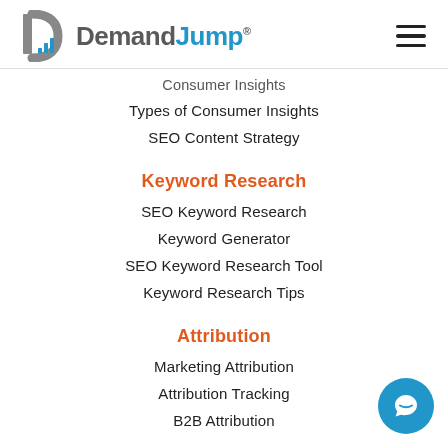DemandJump®
Consumer Insights
Types of Consumer Insights
SEO Content Strategy
Keyword Research
SEO Keyword Research
Keyword Generator
SEO Keyword Research Tool
Keyword Research Tips
Attribution
Marketing Attribution
Attribution Tracking
B2B Attribution